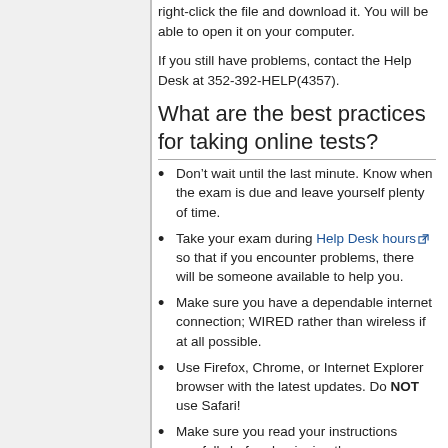right-click the file and download it. You will be able to open it on your computer.
If you still have problems, contact the Help Desk at 352-392-HELP(4357).
What are the best practices for taking online tests?
Don’t wait until the last minute. Know when the exam is due and leave yourself plenty of time.
Take your exam during Help Desk hours so that if you encounter problems, there will be someone available to help you.
Make sure you have a dependable internet connection; WIRED rather than wireless if at all possible.
Use Firefox, Chrome, or Internet Explorer browser with the latest updates. Do NOT use Safari!
Make sure you read your instructions carefully before beginning the exam.